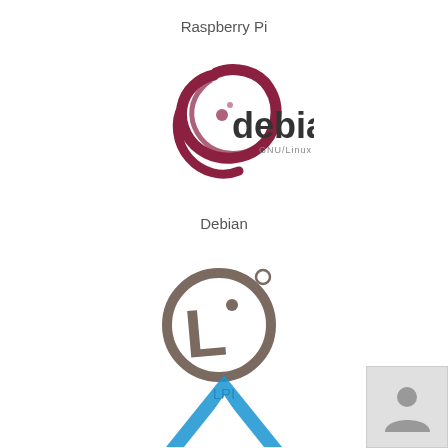Raspberry Pi
[Figure (logo): Debian GNU/Linux logo — swirling dark red lines forming a stylized D shape with debian text]
Debian
[Figure (logo): LPI logo — circular ring with stylized L inside and a small circle superscript]
LPI
[Figure (logo): Arch Linux logo — teal/dark blue angular chevron/mountain shape (partially visible at bottom)]
[Figure (photo): Small gray avatar/person icon in a light gray box, bottom-right corner]